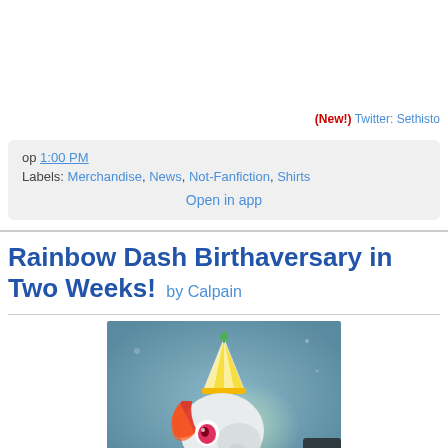(New!) Twitter: Sethisto
op 1:00 PM
Labels: Merchandise, News, Not-Fanfiction, Shirts
Open in app
Rainbow Dash Birthaversary in Two Weeks! by Calpain
[Figure (illustration): Cartoon pony character (Rainbow Dash) wearing a party hat, drawn in animated style with colorful background]